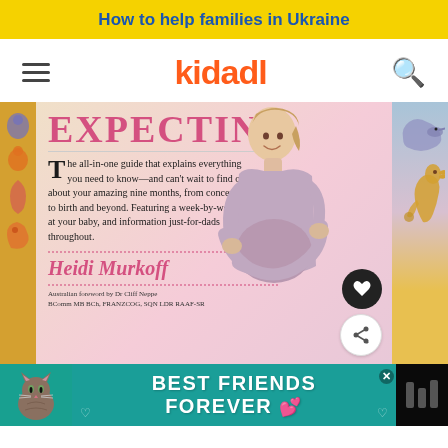How to help families in Ukraine
[Figure (screenshot): Kidadl website navigation bar with hamburger menu, Kidadl logo in orange, and search icon]
[Figure (photo): Book cover of 'Expecting' by Heidi Murkoff. Shows title 'EXPECTING' in pink, description text 'The all-in-one guide that explains everything you need to know—and can't wait to find out—about your amazing nine months, from conception to birth and beyond. Featuring a week-by-week look at your baby, and information just-for-dads throughout.' Author name 'Heidi Murkoff' in pink italic. Australian foreword by Dr Cliff Neppe BComm MB BCh, FRANZCOG, SQN LDR RAAF-SR. Features a pregnant woman photo.]
[Figure (infographic): Advertisement banner: BEST FRIENDS FOREVER with cat image on teal background]